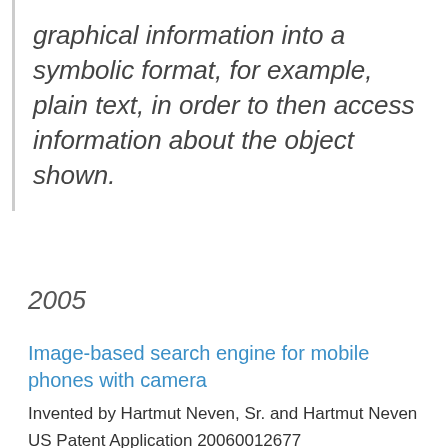graphical information into a symbolic format, for example, plain text, in order to then access information about the object shown.
2005
Image-based search engine for mobile phones with camera
Invented by Hartmut Neven, Sr. and Hartmut Neven
US Patent Application 20060012677
Published January 19, 2006
Filed May 13, 2005